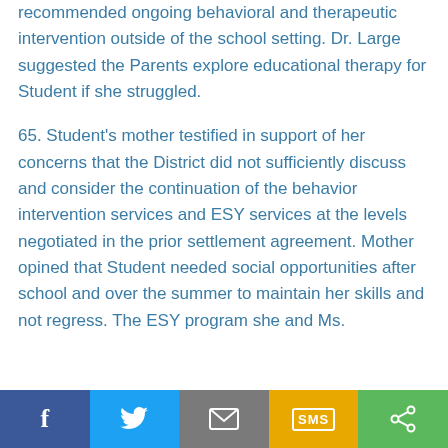recommended ongoing behavioral and therapeutic intervention outside of the school setting. Dr. Large suggested the Parents explore educational therapy for Student if she struggled.
65. Student's mother testified in support of her concerns that the District did not sufficiently discuss and consider the continuation of the behavior intervention services and ESY services at the levels negotiated in the prior settlement agreement. Mother opined that Student needed social opportunities after school and over the summer to maintain her skills and not regress. The ESY program she and Ms. T...